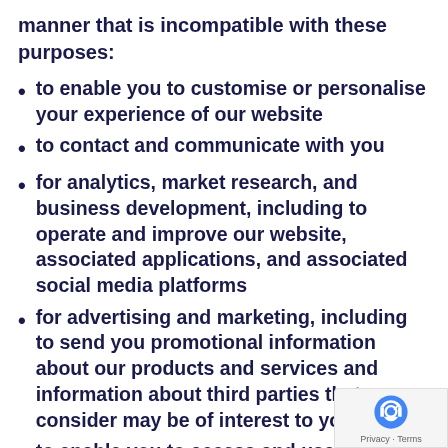manner that is incompatible with these purposes:
to enable you to customise or personalise your experience of our website
to contact and communicate with you
for analytics, market research, and business development, including to operate and improve our website, associated applications, and associated social media platforms
for advertising and marketing, including to send you promotional information about our products and services and information about third parties that we consider may be of interest to you
to enable you to access and use our website, associated applications, and associated social media platforms